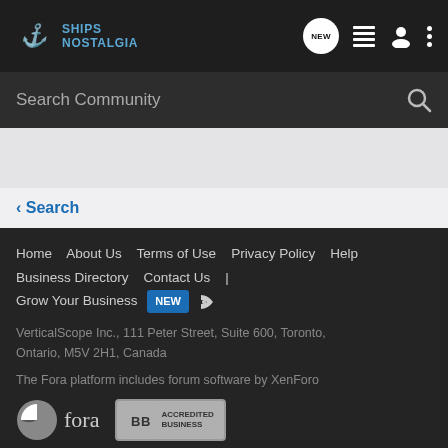SHIPS NOSTALGIA
Search Community
< Search
Home  About Us  Terms of Use  Privacy Policy  Help  Business Directory  Contact Us  |  Grow Your Business  NEW
VerticalScope Inc., 111 Peter Street, Suite 600, Toronto, Ontario, M5V 2H1, Canada
The Fora platform includes forum software by XenForo
[Figure (logo): Fora platform logo and BBB Accredited Business badge]